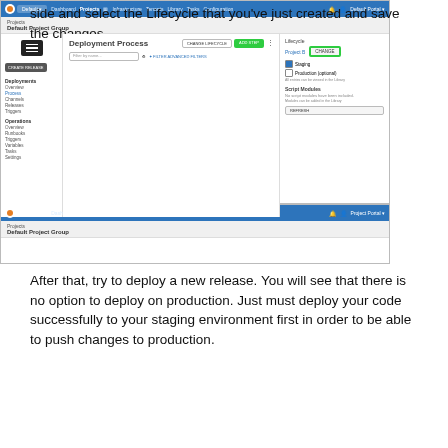side and select the Lifecycle that you've just created and save the changes.
[Figure (screenshot): Octopus Deploy screenshot showing Deployment Process page with Lifecycle set to 'Project B' and a highlighted CHANGE button, sidebar showing Deployments/Containers sections, Staging checkbox selected.]
After that, try to deploy a new release. You will see that there is no option to deploy on production. Just must deploy your code successfully to your staging environment first in order to be able to push changes to production.
[Figure (screenshot): Octopus Deploy screenshot showing navigation bar for Default Project Group - partial view of top of page.]